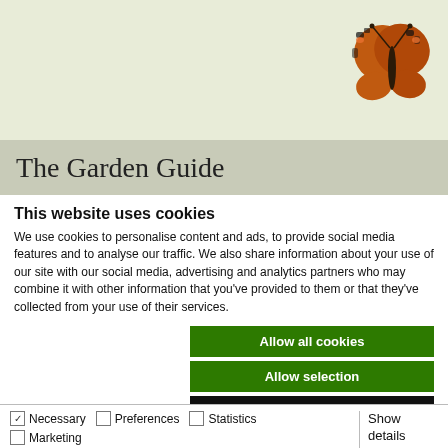[Figure (photo): Butterfly illustration (tortoiseshell butterfly) in upper right corner on sage green background]
The Garden Guide
This website uses cookies
We use cookies to personalise content and ads, to provide social media features and to analyse our traffic. We also share information about your use of our site with our social media, advertising and analytics partners who may combine it with other information that you've provided to them or that they've collected from your use of their services.
Allow all cookies
Allow selection
Use necessary cookies only
Necessary  Preferences  Statistics  Marketing  Show details